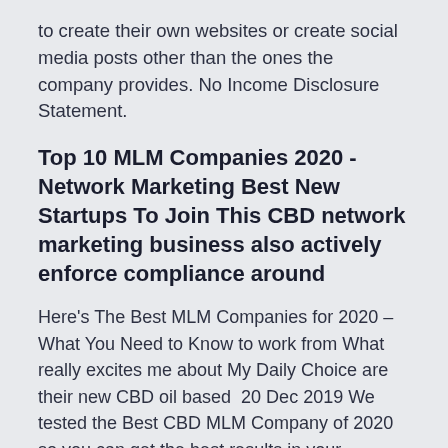to create their own websites or create social media posts other than the ones the company provides. No Income Disclosure Statement.
Top 10 MLM Companies 2020 - Network Marketing Best New Startups To Join This CBD network marketing business also actively enforce compliance around
Here's The Best MLM Companies for 2020 – What You Need to Know to work from What really excites me about My Daily Choice are their new CBD oil based  20 Dec 2019 We tested the Best CBD MLM Company of 2020 so you can get the best results in your Network Marketing Business. How We Rated the Best:  CBDD oils are the new miracle products.